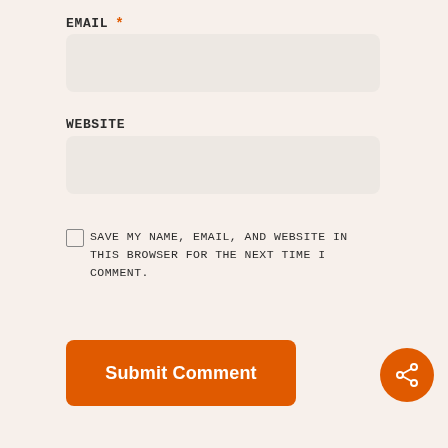EMAIL *
WEBSITE
SAVE MY NAME, EMAIL, AND WEBSITE IN THIS BROWSER FOR THE NEXT TIME I COMMENT.
Submit Comment